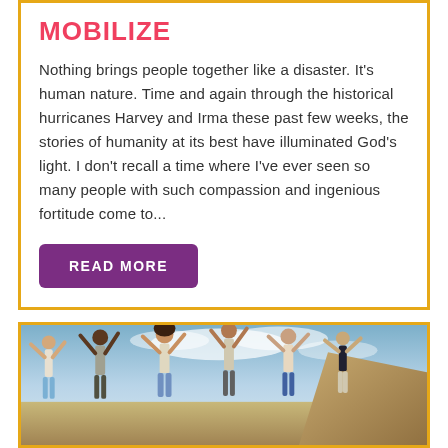MOBILIZE
Nothing brings people together like a disaster. It's human nature. Time and again through the historical hurricanes Harvey and Irma these past few weeks, the stories of humanity at its best have illuminated God's light. I don't recall a time where I've ever seen so many people with such compassion and ingenious fortitude come to...
[Figure (photo): Group of young people jumping joyfully outdoors against a sky background with a cliff/rocky landscape on the right side.]